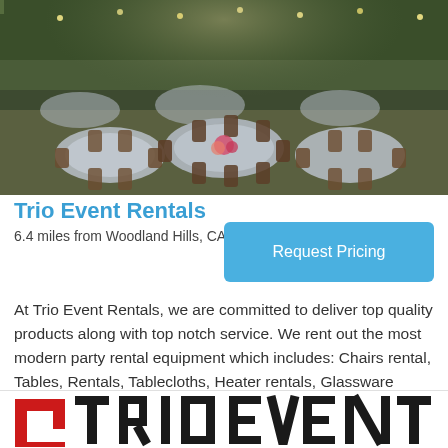[Figure (photo): Outdoor event setup with round tables covered in silver/grey tablecloths, wooden cross-back chairs, floral centerpieces, and string lights in a garden/wooded setting]
Trio Event Rentals
6.4 miles from Woodland Hills, CA
Request Pricing
At Trio Event Rentals, we are committed to deliver top quality products along with top notch service. We rent out the most modern party rental equipment which includes: Chairs rental, Tables, Rentals, Tablecloths, Heater rentals, Glassware rentals
[Figure (logo): Trio Event Rentals logo — partial view showing red and black stylized text/icon at bottom of page]